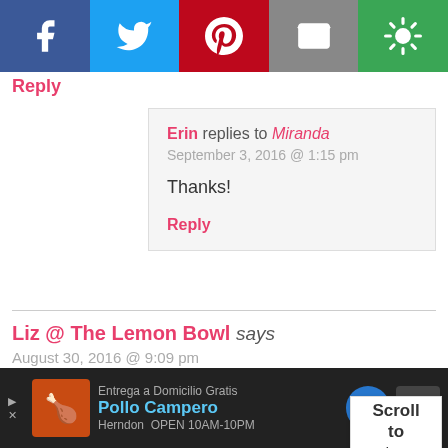[Figure (screenshot): Social sharing bar with Facebook, Twitter, Pinterest, Email, and another share button]
Reply
Erin replies to Miranda
September 3, 2016 @ 1:15 pm

Thanks!

Reply
Liz @ The Lemon Bowl says
August 30, 2016 @ 9:09 pm

This looks so delicious! Yes please!

Reply
[Figure (screenshot): Scroll to top widget]
[Figure (screenshot): Advertisement bar: Pollo Campero - Entrega a Domicilio Gratis, Herndon OPEN 10AM-10PM]